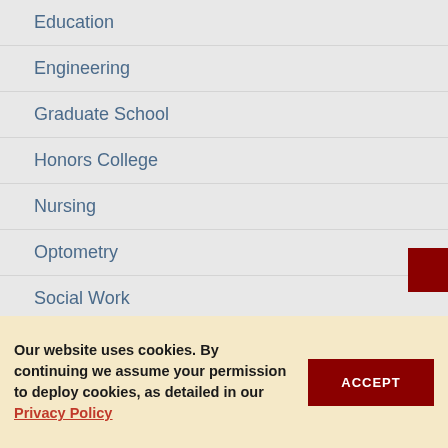Education
Engineering
Graduate School
Honors College
Nursing
Optometry
Social Work
ADMINISTRATION
Academic Affairs
Our website uses cookies. By continuing we assume your permission to deploy cookies, as detailed in our Privacy Policy